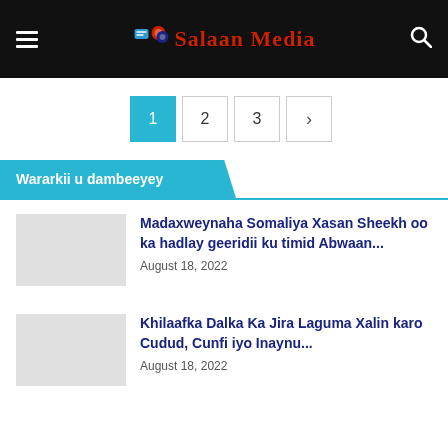Salaan Media
1  2  3  >
Wararkii u dambeeyey
Madaxweynaha Somaliya Xasan Sheekh oo ka hadlay geeridii ku timid Abwaan...
August 18, 2022
Khilaafka Dalka Ka Jira Laguma Xalin karo Cudud, Cunfi iyo Inaynu...
August 18, 2022